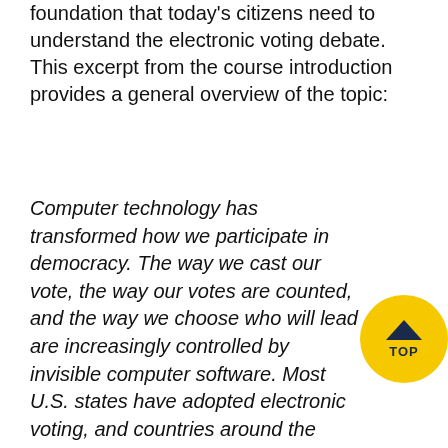foundation that today's citizens need to understand the electronic voting debate. This excerpt from the course introduction provides a general overview of the topic:
Computer technology has transformed how we participate in democracy. The way we cast our votes, the way our votes are counted, and the way we choose who will lead are increasingly controlled by invisible computer software. Most U.S. states have adopted electronic voting, and countries around the world are starting to collect votes over the Internet. However, computerized voting raises startling security risks that are only beginning to be understood outside the research lab, from voting machine viruses that can silently change votes to the possibility that hackers in foreign countries could steal an election.